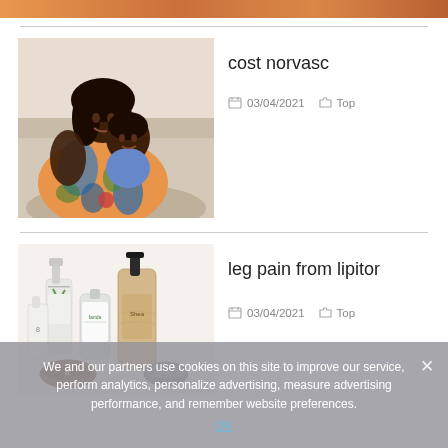[Figure (photo): Partial colorful image strip at top of page]
[Figure (photo): Mother and child sitting on a sofa, woman wearing a colorful floral dress holding a young child]
cost norvasc
03/04/2021   Top
[Figure (photo): Skincare/lotion product bottles and containers arranged together]
leg pain from lipitor
03/04/2021   Top
We and our partners use cookies on this site to improve our service, perform analytics, personalize advertising, measure advertising performance, and remember website preferences.